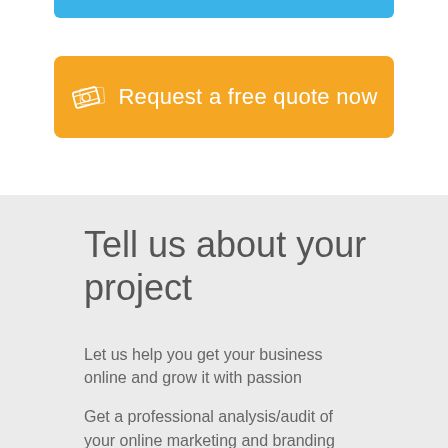[Figure (other): Blue bar at top of page, partial button or decorative element]
[Figure (other): Orange rounded button with money/dollar bill icon and text 'Request a free quote now']
Tell us about your project
Let us help you get your business online and grow it with passion
Get a professional analysis/audit of your online marketing and branding strategy tailored specifically to meet